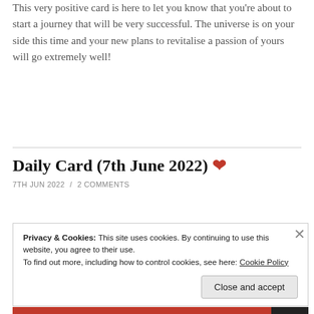This very positive card is here to let you know that you're about to start a journey that will be very successful. The universe is on your side this time and your new plans to revitalise a passion of yours will go extremely well!
Daily Card (7th June 2022) ❤
7TH JUN 2022 / 2 COMMENTS
Privacy & Cookies: This site uses cookies. By continuing to use this website, you agree to their use.
To find out more, including how to control cookies, see here: Cookie Policy
Close and accept